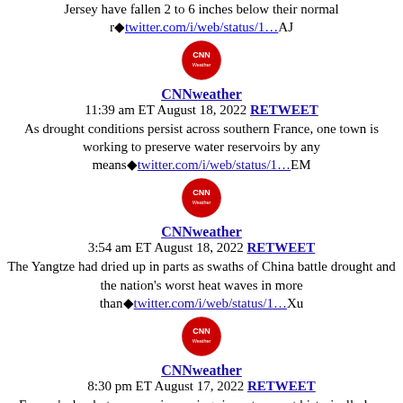Jersey have fallen 2 to 6 inches below their normal r�twitter.com/i/web/status/1…AJ
CNNweather
11:39 am ET August 18, 2022 RETWEET
As drought conditions persist across southern France, one town is working to preserve water reservoirs by any means�twitter.com/i/web/status/1…EM
CNNweather
3:54 am ET August 18, 2022 RETWEET
The Yangtze had dried up in parts as swaths of China battle drought and the nation's worst heat waves in more than�twitter.com/i/web/status/1…Xu
CNNweather
8:30 pm ET August 17, 2022 RETWEET
Europe's dry, hot summer is causing rivers to run at historically low levels. cnn.it/3wdVWSF
CNNweather
5:55 pm ET August 17, 2022 RETWEET
The lack of a public deadline or plan of action on the Colorado River came as a surprise to stakeholders and